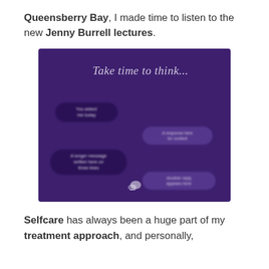Queensberry Bay, I made time to listen to the new Jenny Burrell lectures.
[Figure (illustration): A dark purple square image with italic text 'Take time to think...' at the top, followed by several chat-bubble style pill shapes in darker purple and lighter purple arranged in an alternating left-right pattern, and a small logo at the bottom center.]
Selfcare has always been a huge part of my treatment approach, and personally,